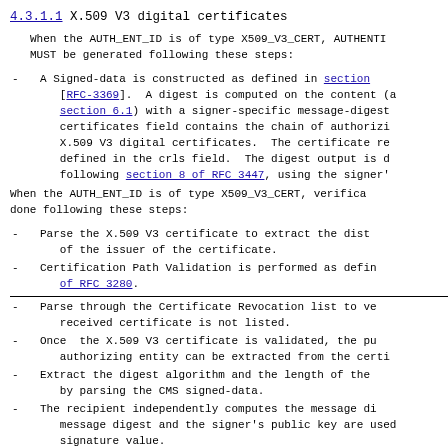4.3.1.1 X.509 V3 digital certificates
When the AUTH_ENT_ID is of type X509_V3_CERT, AUTHENTI
MUST be generated following these steps:
A Signed-data is constructed as defined in section
[RFC-3369].  A digest is computed on the content (a
section 6.1) with a signer-specific message-digest
certificates field contains the chain of authorizi
X.509 V3 digital certificates.  The certificate re
defined in the crls field.  The digest output is d
following section 8 of RFC 3447, using the signer'
When the AUTH_ENT_ID is of type X509_V3_CERT, verifica
done following these steps:
Parse the X.509 V3 certificate to extract the dist
of the issuer of the certificate.
Certification Path Validation is performed as defin
of RFC 3280.
Parse through the Certificate Revocation list to ve
received certificate is not listed.
Once  the X.509 V3 certificate is validated, the pu
authorizing entity can be extracted from the certi
Extract the digest algorithm and the length of the
by parsing the CMS signed-data.
The recipient independently computes the message di
message digest and the signer's public key are used
signature value.